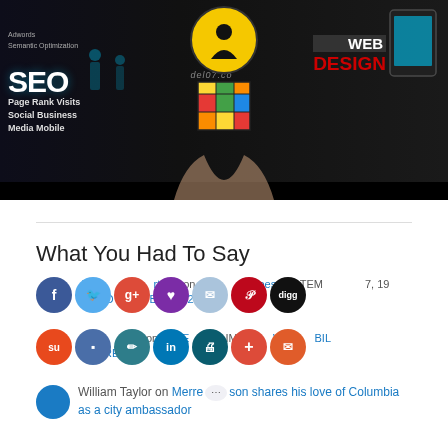[Figure (photo): Digital marketing / SEO / Web Design collage image showing SEO text, Rubik's cube held in hands, WEB DESIGN text, social media icons, and a yellow circle logo with a silhouette person. Site watermark reads del07.co]
What You Had To Say
[Figure (infographic): Row of social media sharing buttons: Facebook, Twitter, Google+, heart/love, message, Pinterest, Digg icons as colored circles]
Travis rtson on Ca eesc TEME 7, 19 OCTOBER 6, 2
[Figure (infographic): Second row of social sharing buttons: StumbleUpon, square, edit, LinkedIn, print, WordPress, plus, email icons as colored circles]
Irm t on IFE IME WIL BIL TERRELL
William Taylor on Merrea son shares his love of Columbia as a city ambassador